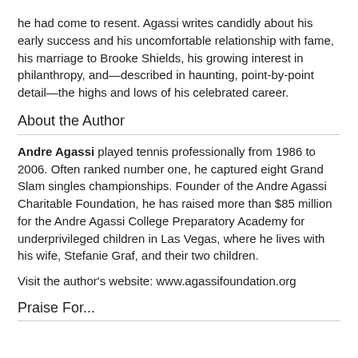he had come to resent. Agassi writes candidly about his early success and his uncomfortable relationship with fame, his marriage to Brooke Shields, his growing interest in philanthropy, and—described in haunting, point-by-point detail—the highs and lows of his celebrated career.
About the Author
Andre Agassi played tennis professionally from 1986 to 2006. Often ranked number one, he captured eight Grand Slam singles championships. Founder of the Andre Agassi Charitable Foundation, he has raised more than $85 million for the Andre Agassi College Preparatory Academy for underprivileged children in Las Vegas, where he lives with his wife, Stefanie Graf, and their two children.
Visit the author's website: www.agassifoundation.org
Praise For...